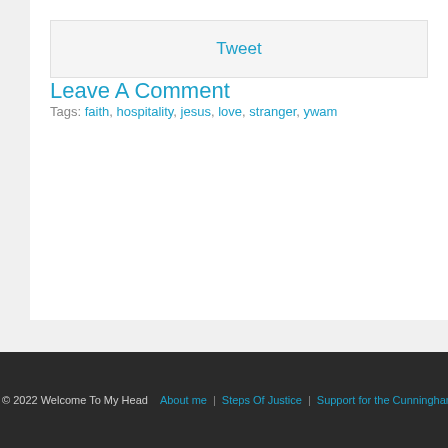Tweet
Leave A Comment
Tags: faith, hospitality, jesus, love, stranger, ywam
© 2022 Welcome To My Head   About me  |  Steps Of Justice  |  Support for the Cunninghams